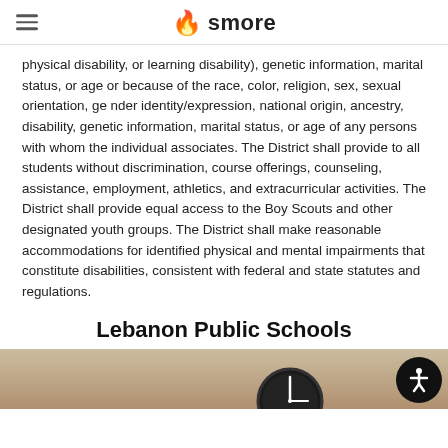smore
physical disability, or learning disability), genetic information, marital status, or age or because of the race, color, religion, sex, sexual orientation, ge nder identity/expression, national origin, ancestry, disability, genetic information, marital status, or age of any persons with whom the individual associates. The District shall provide to all students without discrimination, course offerings, counseling, assistance, employment, athletics, and extracurricular activities. The District shall provide equal access to the Boy Scouts and other designated youth groups. The District shall make reasonable accommodations for identified physical and mental impairments that constitute disabilities, consistent with federal and state statutes and regulations.
Lebanon Public Schools
[Figure (photo): Partial photo of a school setting showing a clock on the wall against a beige/tan background]